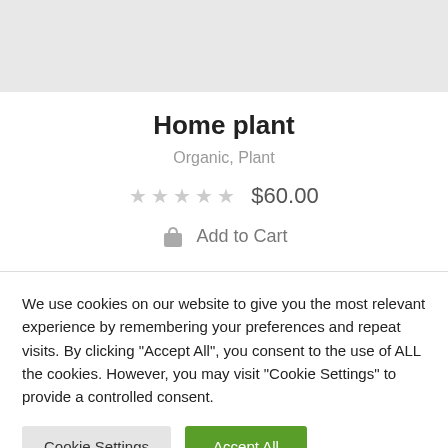[Figure (photo): Light gray placeholder image for a home plant product]
Home plant
Organic, Plant
★★★★★  $60.00
🛒 Add to Cart
We use cookies on our website to give you the most relevant experience by remembering your preferences and repeat visits. By clicking "Accept All", you consent to the use of ALL the cookies. However, you may visit "Cookie Settings" to provide a controlled consent.
Cookie Settings | Accept All